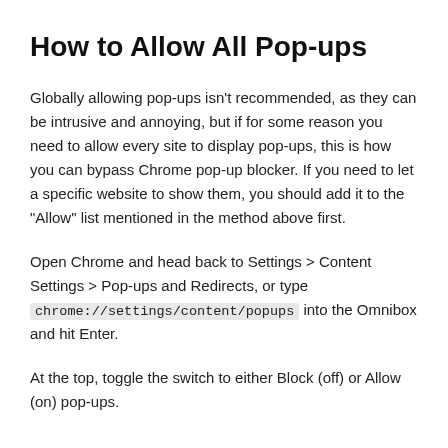How to Allow All Pop-ups
Globally allowing pop-ups isn't recommended, as they can be intrusive and annoying, but if for some reason you need to allow every site to display pop-ups, this is how you can bypass Chrome pop-up blocker. If you need to let a specific website to show them, you should add it to the “Allow” list mentioned in the method above first.
Open Chrome and head back to Settings > Content Settings > Pop-ups and Redirects, or type chrome://settings/content/popups into the Omnibox and hit Enter.
At the top, toggle the switch to either Block (off) or Allow (on) pop-ups.